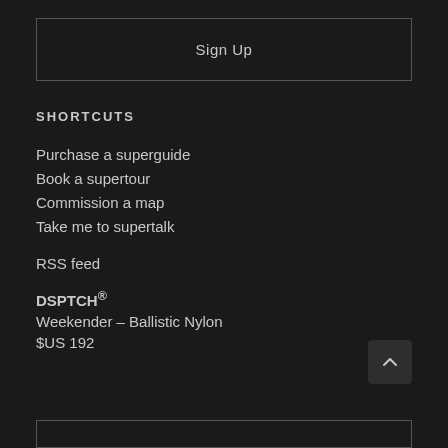Sign Up
SHORTCUTS
Purchase a superguide
Book a supertour
Commission a map
Take me to supertalk
RSS feed
DSPTCH®
Weekender – Ballistic Nylon
$US 192